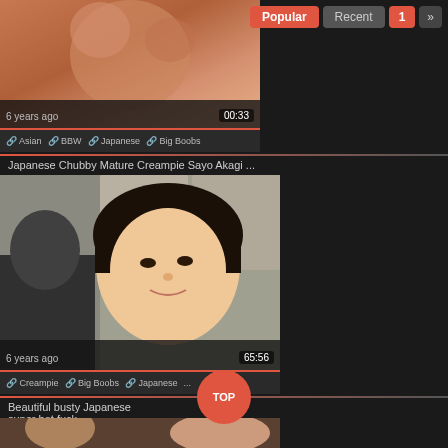[Figure (screenshot): Video thumbnail showing skin tones, partial body image at top of page]
Popular  Recent  1  »
6 years ago  00:33
🔗 Asian  🔗 BBW  🔗 Japanese  🔗 Big Boobs
Japanese Chubby Mature Creampie Sayo Akagi ...
[Figure (screenshot): Video thumbnail showing a smiling mature Japanese woman with short dark hair]
6 years ago  65:56
🔗 Creampie  🔗 Big Boobs  🔗 Japanese  ...
Beautiful busty Japanese is a super hot fuck